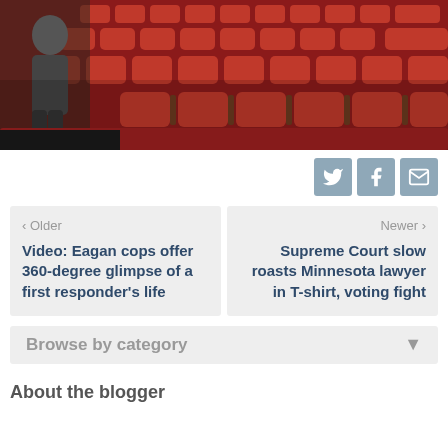[Figure (photo): Photo of a person in a theater or auditorium with rows of red upholstered seats]
[Figure (infographic): Social sharing buttons: Twitter, Facebook, Email]
‹ Older
Video: Eagan cops offer 360-degree glimpse of a first responder’s life
Newer ›
Supreme Court slow roasts Minnesota lawyer in T-shirt, voting fight
Browse by category
About the blogger